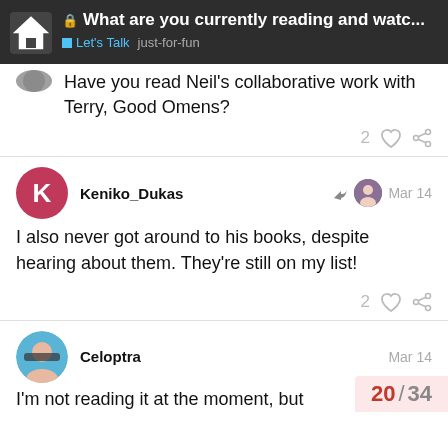🔒 What are you currently reading and watc... | Let's Talk  just-for-fun
Have you read Neil's collaborative work with Terry, Good Omens?
2 ♡ 🔗
Keniko_Dukas  Mar 14
I also never got around to his books, despite hearing about them. They're still on my list!
2 ♡ 🔗
Celoptra  Mar 14
I'm not reading it at the moment, but
20 / 34